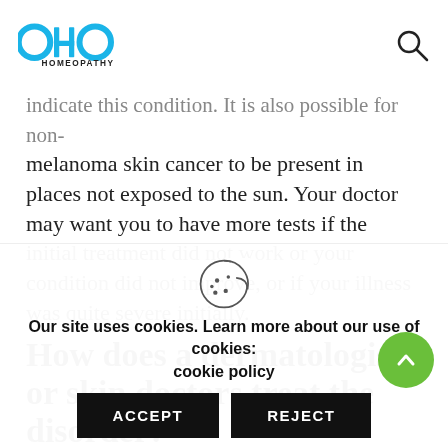OHO HOMEOPATHY
indicate this condition. It is also possible for non-melanoma skin cancer to be present in places not exposed to the sun. Your doctor may want you to have more tests if the initial treatment did not work or your condition did not improve, or if your illness was quite severe initially.
How does a dermatologist or skin doctors treat the disorder?
Our site uses cookies. Learn more about our use of cookies: cookie policy
ACCEPT
REJECT